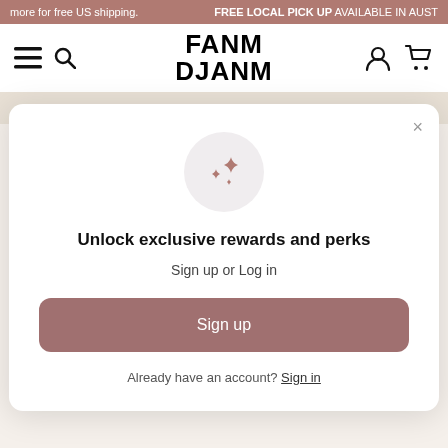more for free US shipping.   FREE LOCAL PICK UP AVAILABLE IN AUST
[Figure (logo): FANM DJANM logo in bold black text]
Unlock exclusive rewards and perks
Sign up or Log in
Sign up
Already have an account? Sign in